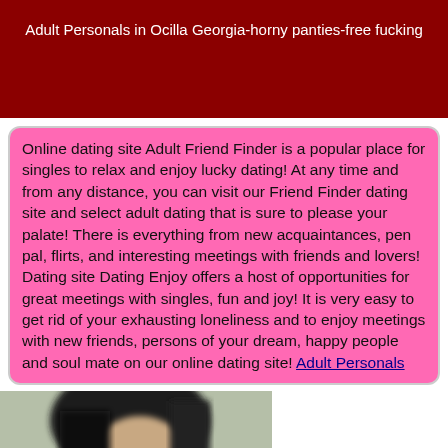Adult Personals in Ocilla Georgia-horny panties-free fucking
Online dating site Adult Friend Finder is a popular place for singles to relax and enjoy lucky dating! At any time and from any distance, you can visit our Friend Finder dating site and select adult dating that is sure to please your palate! There is everything from new acquaintances, pen pal, flirts, and interesting meetings with friends and lovers! Dating site Dating Enjoy offers a host of opportunities for great meetings with singles, fun and joy! It is very easy to get rid of your exhausting loneliness and to enjoy meetings with new friends, persons of your dream, happy people and soul mate on our online dating site! Adult Personals
[Figure (photo): Blurred photo of a dark-haired person facing slightly downward, against a light background]
Copyright © 2020 year www.datington.com All Rights Reserved. Home | site map